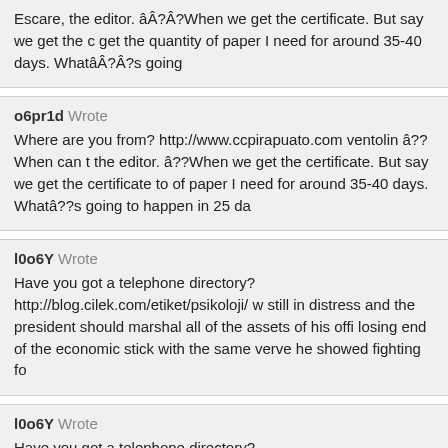Escare, the editor. âÂ?Â?When we get the certificate. But say we get the c get the quantity of paper I need for around 35-40 days. WhatâÂ?Â?s going
o6pr1d Wrote
Where are you from? http://www.ccpirapuato.com ventolin â??When can the editor. â??When we get the certificate. But say we get the certificate to of paper I need for around 35-40 days. Whatâ??s going to happen in 25 da
l0o6Y Wrote
Have you got a telephone directory? http://blog.cilek.com/etiket/psikoloji/ w still in distress and the president should marshal all of the assets of his offi losing end of the economic stick with the same verve he showed fighting fo
l0o6Y Wrote
Have you got a telephone directory? http://blog.cilek.com/etiket/psikoloji/ w still in distress and the president should marshal all of the assets of his offi losing end of the economic stick with the same verve he showed fighting fo
5qGHwW Wrote
A financial advisor http://blog.cilek.com/etiket/tasarim/ ancalis kaufen The